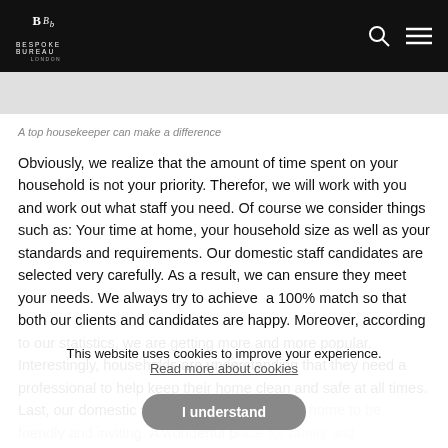Bespoke Bureau London — navigation header with logo, search icon, and menu icon
A top housekeeper can make a difference
Obviously, we realize that the amount of time spent on your household is not your priority. Therefor, we will work with you and work out what staff you need. Of course we consider things such as: Your time at home, your household size as well as your standards and requirements. Our domestic staff candidates are selected very carefully. As a result, we can ensure they meet your needs. We always try to achieve a 100% match so that both our clients and candidates are happy. Moreover, according to our statistics, we are getting more and more popular. Interestingly, households are understanding that they need a professional to help keep their home clean and safe at all times. Last, our domestic staff company wants your home to be friendly and inviting. A wonderful place for family and
This website uses cookies to improve your experience. Read more about cookies I understand